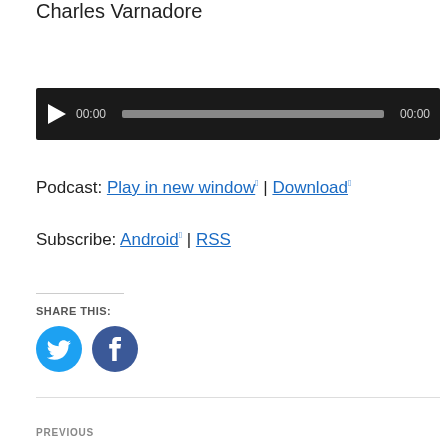Charles Varnadore
[Figure (other): Audio player widget with play button, time display (00:00), progress bar, and duration (00:00) on dark background]
Podcast: Play in new window | Download
Subscribe: Android | RSS
SHARE THIS:
[Figure (other): Twitter and Facebook social sharing icon buttons]
PREVIOUS